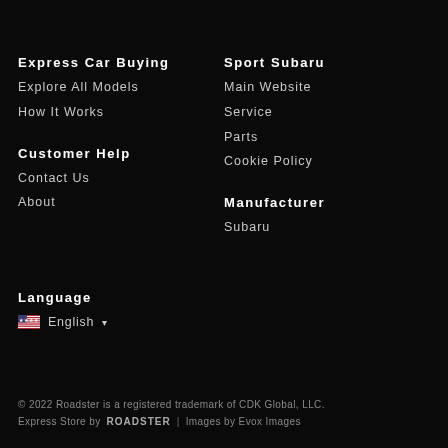Express Car Buying
Explore All Models
How It Works
Sport Subaru
Main Website
Service
Parts
Cookie Policy
Customer Help
Contact Us
About
Manufacturer
Subaru
Language
English
© 2022 Roadster is a registered trademark of CDK Global, LLC. Express Store by ROADSTER | Images by Evox Images